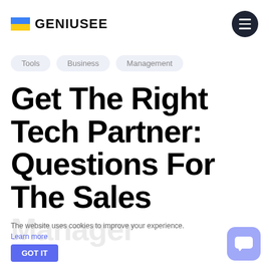GENIUSEE
Tools
Business
Management
Get The Right Tech Partner: Questions For The Sales Manager
The website uses cookies to improve your experience.
Learn more
GOT IT